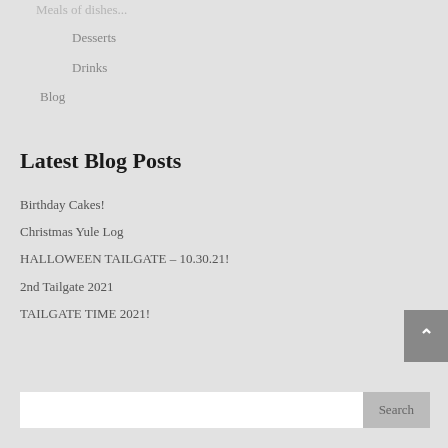Desserts
Drinks
Blog
Latest Blog Posts
Birthday Cakes!
Christmas Yule Log
HALLOWEEN TAILGATE – 10.30.21!
2nd Tailgate 2021
TAILGATE TIME 2021!